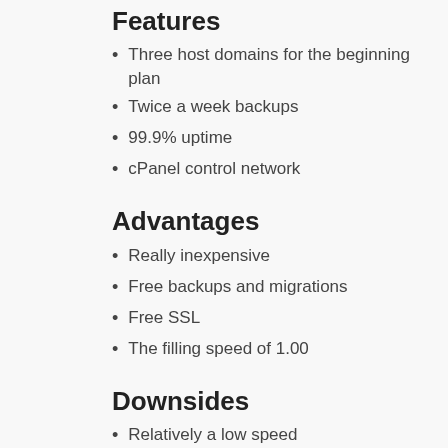Features
Three host domains for the beginning plan
Twice a week backups
99.9% uptime
cPanel control network
Advantages
Really inexpensive
Free backups and migrations
Free SSL
The filling speed of 1.00
Downsides
Relatively a low speed